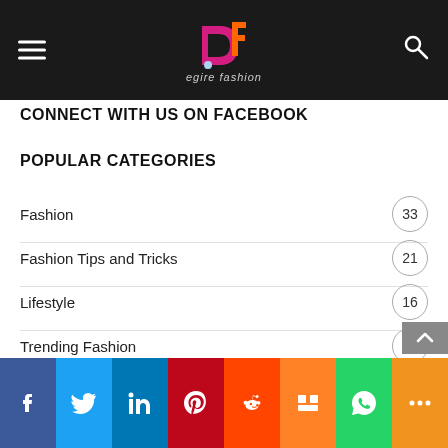Desire Fashion
CONNECT WITH US ON FACEBOOK
POPULAR CATEGORIES
Fashion 33
Fashion Tips and Tricks 21
Lifestyle 16
Trending Fashion 10
Celebrity Lifestyle 6
Facebook Twitter LinkedIn Pinterest Reddit Mix WhatsApp More